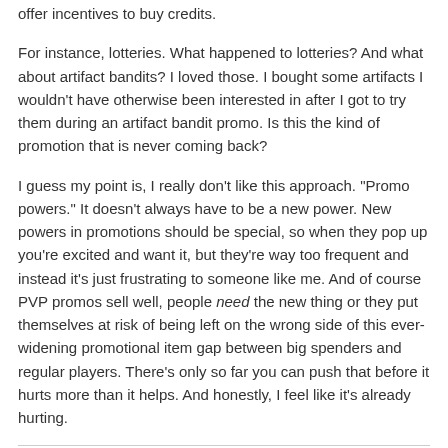offer incentives to buy credits.
For instance, lotteries. What happened to lotteries? And what about artifact bandits? I loved those. I bought some artifacts I wouldn't have otherwise been interested in after I got to try them during an artifact bandit promo. Is this the kind of promotion that is never coming back?
I guess my point is, I really don't like this approach. "Promo powers." It doesn't always have to be a new power. New powers in promotions should be special, so when they pop up you're excited and want it, but they're way too frequent and instead it's just frustrating to someone like me. And of course PVP promos sell well, people need the new thing or they put themselves at risk of being left on the wrong side of this ever-widening promotional item gap between big spenders and regular players. There's only so far you can push that before it hurts more than it helps. And honestly, I feel like it's already hurting.
Deichtine